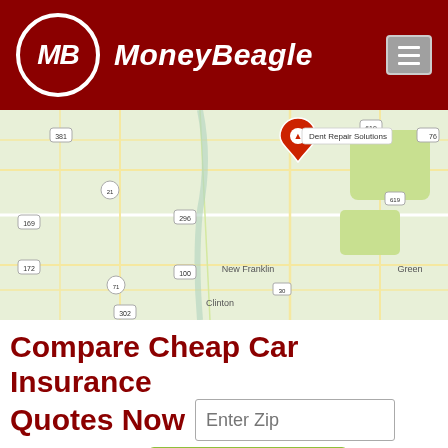[Figure (logo): MoneyBeagle logo with red background, white circular MB emblem and italic white text 'MoneyBeagle' with hamburger menu icon]
[Figure (map): Google Maps view showing area with two red pin markers: 'Dent Repair Solutions' and 'Manchester Body Shop', showing roads, Portage Lakes State Park, New Franklin, Clinton, and Green areas]
Compare Cheap Car Insurance Quotes Now
Enter Zip
Get Rates >